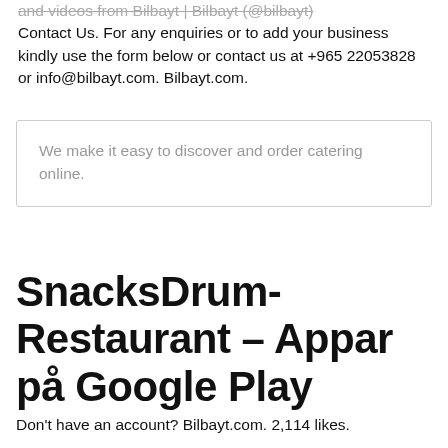and videos from Bilbayt | Bilbayt (@bilbayt) Contact Us. For any enquiries or to add your business kindly use the form below or contact us at +965 22053828 or info@bilbayt.com. Bilbayt.com.
We make it easy to discover and order catering online.
SnacksDrum-Restaurant – Appar på Google Play
Don't have an account? Bilbayt.com. 2,114 likes.